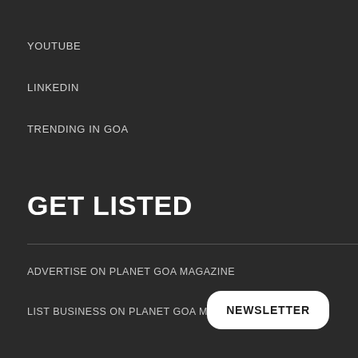YOUTUBE
LINKEDIN
TRENDING IN GOA
GET LISTED
ADVERTISE ON PLANET GOA MAGAZINE
LIST BUSINESS ON PLANET GOA MAGAZINE
NEWSLETTER